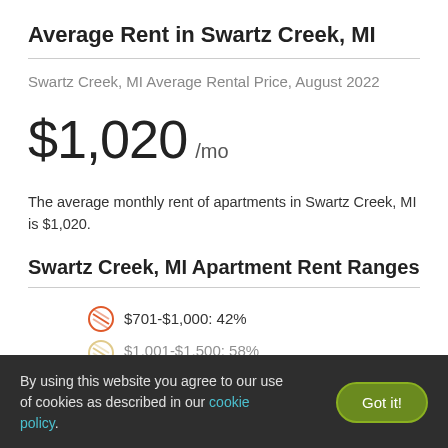Average Rent in Swartz Creek, MI
Swartz Creek, MI Average Rental Price, August 2022
$1,020 /mo
The average monthly rent of apartments in Swartz Creek, MI is $1,020.
Swartz Creek, MI Apartment Rent Ranges
$701-$1,000: 42%
$1,001-$1,500: 58%
By using this website you agree to our use of cookies as described in our cookie policy.